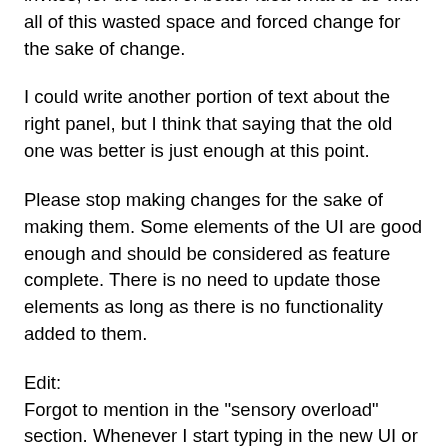invites, for the lack of better idea what to do with all of this wasted space and forced change for the sake of change.
I could write another portion of text about the right panel, but I think that saying that the old one was better is just enough at this point.
Please stop making changes for the sake of making them. Some elements of the UI are good enough and should be considered as feature complete. There is no need to update those elements as long as there is no functionality added to them.
Edit:
Forgot to mention in the "sensory overload" section. Whenever I start typing in the new UI or I look at the list of servers/channels I get the feeling of some car sickness or spinning in my head. It's hard to